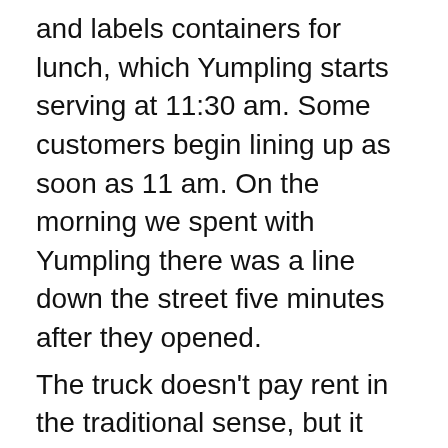and labels containers for lunch, which Yumpling starts serving at 11:30 am. Some customers begin lining up as soon as 11 am. On the morning we spent with Yumpling there was a line down the street five minutes after they opened.
The truck doesn't pay rent in the traditional sense, but it does accumulate parking tickets throughout the day. Parking tickets for the truck range in price from $65 to hundreds of dollars. Some days the truck receives two or three tickets, while on others it manages to avoid parking fines.
» Subscribe to CNBC Make It.: http://cnb.cx/2kxl2rf
About CNBC Make It.: CNBC Make It. is a new section of CNBC dedicated to making you smarter about managing your business...